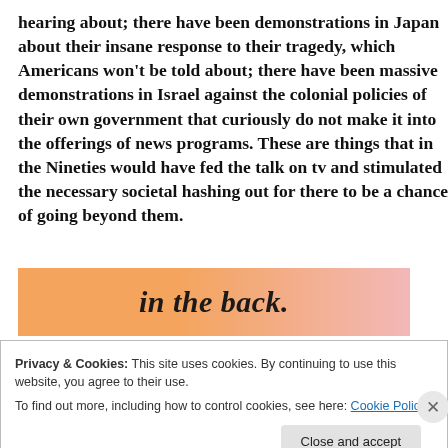hearing about; there have been demonstrations in Japan about their insane response to their tragedy, which Americans won't be told about; there have been massive demonstrations in Israel against the colonial policies of their own government that curiously do not make it into the offerings of news programs. These are things that in the Nineties would have fed the talk on tv and stimulated the necessary societal hashing out for there to be a chance of going beyond them.
[Figure (other): Orange and pink gradient banner with bold italic text reading 'in the back.']
Privacy & Cookies: This site uses cookies. By continuing to use this website, you agree to their use.
To find out more, including how to control cookies, see here: Cookie Policy
Close and accept